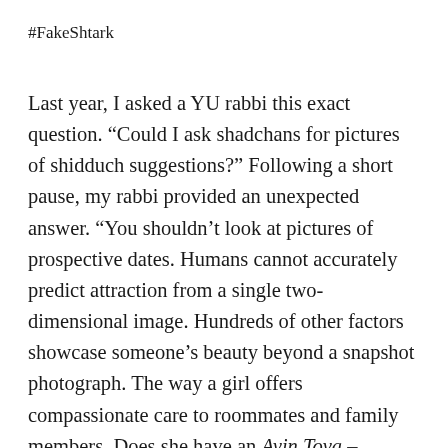#FakeShtark
Last year, I asked a YU rabbi this exact question. “Could I ask shadchans for pictures of shidduch suggestions?” Following a short pause, my rabbi provided an unexpected answer. “You shouldn’t look at pictures of prospective dates. Humans cannot accurately predict attraction from a single two-dimensional image. Hundreds of other factors showcase someone’s beauty beyond a snapshot photograph. The way a girl offers compassionate care to roommates and family members. Does she have an Ayin Tova – positive outlook? Does she have  respect for Torah? Don’t observe a one-time visual glimpse via WhatsApp and think, eh, not